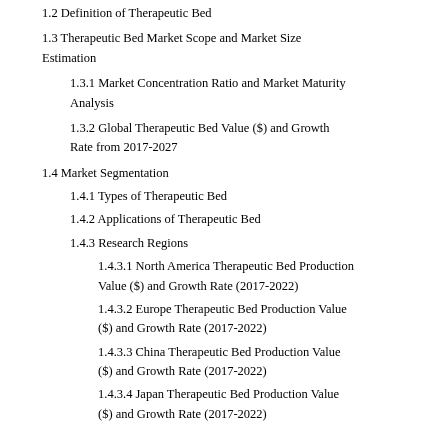1.2 Definition of Therapeutic Bed
1.3 Therapeutic Bed Market Scope and Market Size Estimation
1.3.1 Market Concentration Ratio and Market Maturity Analysis
1.3.2 Global Therapeutic Bed Value ($) and Growth Rate from 2017-2027
1.4 Market Segmentation
1.4.1 Types of Therapeutic Bed
1.4.2 Applications of Therapeutic Bed
1.4.3 Research Regions
1.4.3.1 North America Therapeutic Bed Production Value ($) and Growth Rate (2017-2022)
1.4.3.2 Europe Therapeutic Bed Production Value ($) and Growth Rate (2017-2022)
1.4.3.3 China Therapeutic Bed Production Value ($) and Growth Rate (2017-2022)
1.4.3.4 Japan Therapeutic Bed Production Value ($) and Growth Rate (2017-2022)